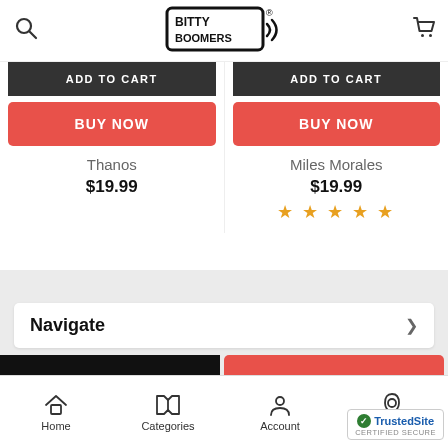Bitty Boomers
ADD TO CART
BUY NOW
Thanos
$19.99
ADD TO CART
BUY NOW
Miles Morales
$19.99
★★★★★
Navigate
ADD TO CART
BUY NOW
Home  Categories  Account  Contact  TrustedSite CERTIFIED SECURE